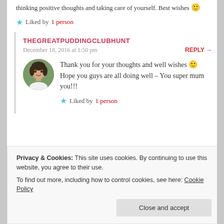thinking positive thoughts and taking care of yourself. Best wishes 🙂
Liked by 1 person
THEGREATPUDDINGCLUBHUNT
December 18, 2016 at 1:50 pm
REPLY →
[Figure (photo): Circular avatar photo of a woman with dark hair, smiling]
Thank you for your thoughts and well wishes 🙂 Hope you guys are all doing well – You super mum you!!!
Liked by 1 person
Privacy & Cookies: This site uses cookies. By continuing to use this website, you agree to their use. To find out more, including how to control cookies, see here: Cookie Policy
Close and accept